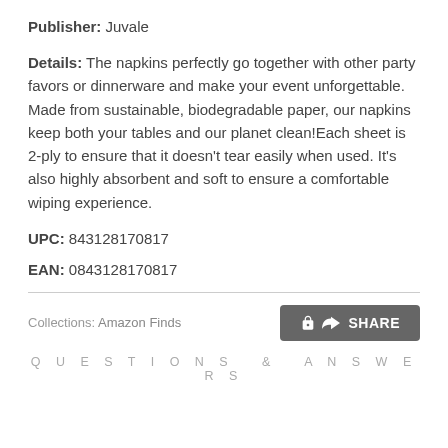Publisher: Juvale
Details: The napkins perfectly go together with other party favors or dinnerware and make your event unforgettable. Made from sustainable, biodegradable paper, our napkins keep both your tables and our planet clean!Each sheet is 2-ply to ensure that it doesn't tear easily when used. It's also highly absorbent and soft to ensure a comfortable wiping experience.
UPC: 843128170817
EAN: 0843128170817
Collections: Amazon Finds
SHARE
QUESTIONS & ANSWERS